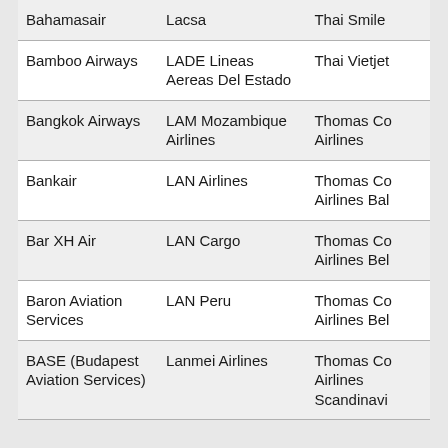| Bahamasair | Lacsa | Thai Smile |
| Bamboo Airways | LADE Lineas Aereas Del Estado | Thai Vietjet |
| Bangkok Airways | LAM Mozambique Airlines | Thomas Co Airlines |
| Bankair | LAN Airlines | Thomas Co Airlines Bal |
| Bar XH Air | LAN Cargo | Thomas Co Airlines Bel |
| Baron Aviation Services | LAN Peru | Thomas Co Airlines Bel |
| BASE (Budapest Aviation Services) | Lanmei Airlines | Thomas Co Airlines Scandinavi |